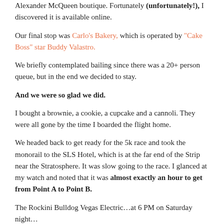Alexander McQueen boutique. Fortunately (unfortunately!), I discovered it is available online.
Our final stop was Carlo's Bakery, which is operated by "Cake Boss" star Buddy Valastro.
We briefly contemplated bailing since there was a 20+ person queue, but in the end we decided to stay.
And we were so glad we did.
I bought a brownie, a cookie, a cupcake and a cannoli. They were all gone by the time I boarded the flight home.
We headed back to get ready for the 5k race and took the monorail to the SLS Hotel, which is at the far end of the Strip near the Stratosphere. It was slow going to the race. I glanced at my watch and noted that it was almost exactly an hour to get from Point A to Point B.
The Rockini Bulldog Vegas Electric…at 6 PM on Saturday night…